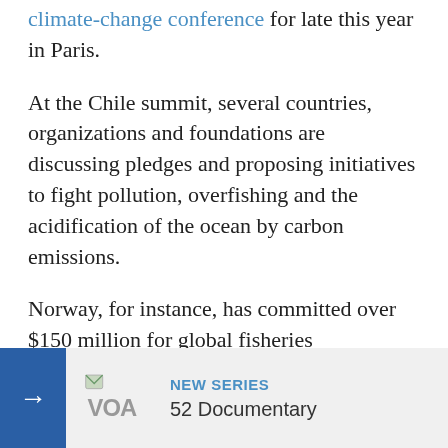climate-change conference for late this year in Paris.
At the Chile summit, several countries, organizations and foundations are discussing pledges and proposing initiatives to fight pollution, overfishing and the acidification of the ocean by carbon emissions.
Norway, for instance, has committed over $150 million for global fisheries development and management.
New marine sanctuaries
Maryland's newly designated Mallows Bay sanctuary is the first in the Chesapeake Bay, the country's largest estuary... "largest and most... shipwrecks," a
[Figure (screenshot): VOA promotional banner showing arrow button, VOA logo, NEW SERIES label, and '52 Documentary' text]